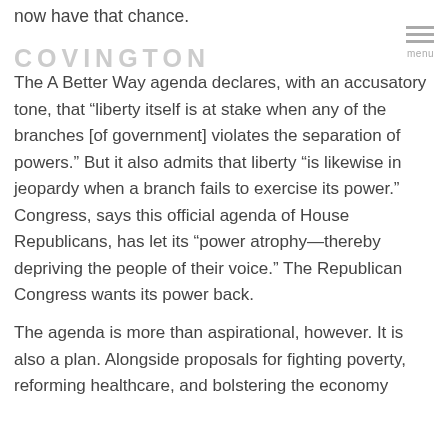now have that chance.
COVINGTON  menu
The A Better Way agenda declares, with an accusatory tone, that “liberty itself is at stake when any of the branches [of government] violates the separation of powers.” But it also admits that liberty “is likewise in jeopardy when a branch fails to exercise its power.” Congress, says this official agenda of House Republicans, has let its “power atrophy—thereby depriving the people of their voice.” The Republican Congress wants its power back.
The agenda is more than aspirational, however. It is also a plan. Alongside proposals for fighting poverty, reforming healthcare, and bolstering the economy